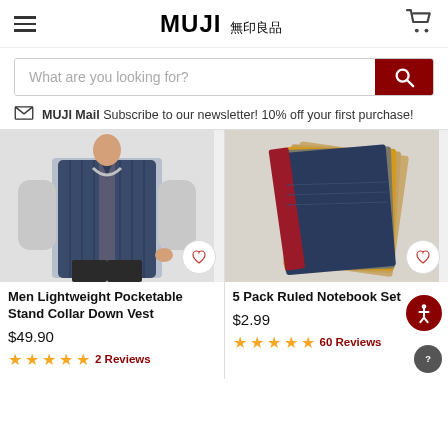MUJI 無印良品
What are you looking for?
MUJI Mail Subscribe to our newsletter! 10% off your first purchase!
[Figure (photo): Man wearing a navy blue lightweight pocketable stand collar down vest over a grey long-sleeve shirt, with dark jeans]
Men Lightweight Pocketable Stand Collar Down Vest
$49.90
2 Reviews
[Figure (photo): 5 Pack Ruled Notebook Set - stack of notebooks in red, olive/grey, yellow/mustard, navy blue, and tan/kraft colors]
5 Pack Ruled Notebook Set
$2.99
60 Reviews